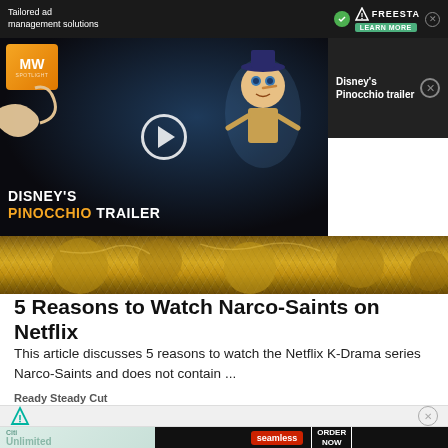[Figure (screenshot): Top advertisement banner with text 'Tailored ad management solutions' and FreeStar logo with 'LEARN MORE' button]
[Figure (screenshot): Disney's Pinocchio trailer video thumbnail with play button, MW Spotlight logo badge, and title overlay reading DISNEY'S PINOCCHIO TRAILER]
Disney's Pinocchio trailer
[Figure (photo): Golden/bronze decorative scene at bottom of video area]
5 Reasons to Watch Narco-Saints on Netflix
This article discusses 5 reasons to watch the Netflix K-Drama series Narco-Saints and does not contain ...
Ready Steady Cut
[Figure (logo): FreeStar ad network icon (funnel/filter icon) with close button]
[Figure (screenshot): Seamless food delivery advertisement with pizza image, Seamless logo, and ORDER NOW button]